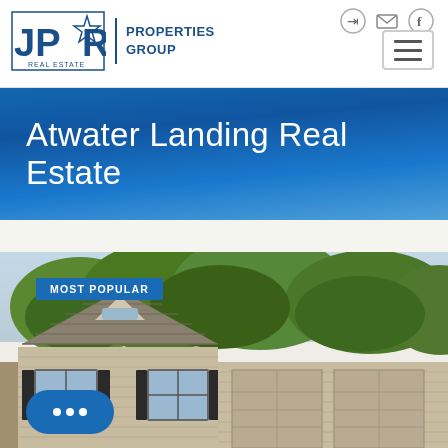[Figure (logo): JPR Star Real Estate logo with text 'PROPERTIES GROUP']
Atwater Landing Real Estate
[Figure (photo): Residential house with siding exterior and dark shutters, surrounded by green trees. Badge reads MOST POPULAR.]